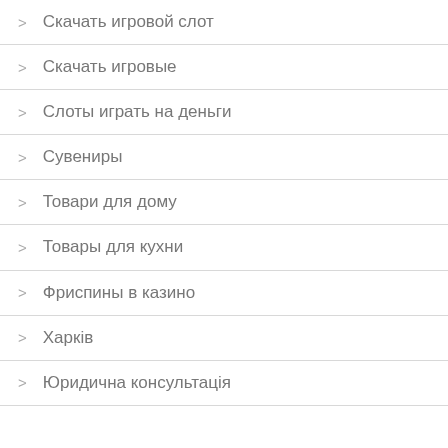Скачать игровой слот
Скачать игровые
Слоты играть на деньги
Сувениры
Товари для дому
Товары для кухни
Фриспины в казино
Харків
Юридична консультація